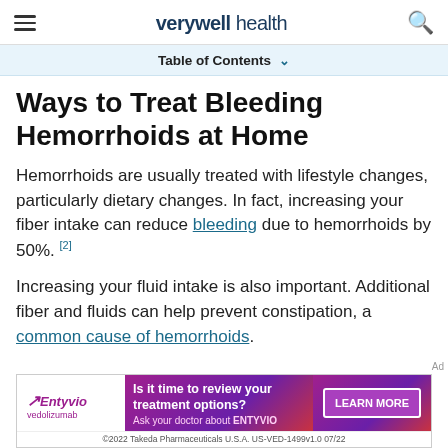verywell health
Table of Contents
Ways to Treat Bleeding Hemorrhoids at Home
Hemorrhoids are usually treated with lifestyle changes, particularly dietary changes. In fact, increasing your fiber intake can reduce bleeding due to hemorrhoids by 50%. [2]
Increasing your fluid intake is also important. Additional fiber and fluids can help prevent constipation, a common cause of hemorrhoids.
[Figure (infographic): Entyvio (vedolizumab) pharmaceutical advertisement. Text: 'Is it time to review your treatment options? Ask your doctor about ENTYVIO'. Button: 'LEARN MORE'. Footer: '©2022 Takeda Pharmaceuticals U.S.A. US-VED-1499v1.0 07/22']